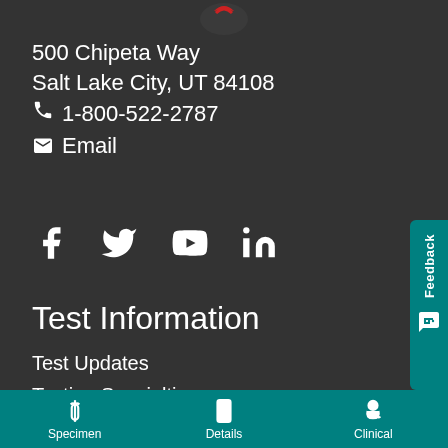[Figure (logo): ARUP Laboratories partial logo visible at top center]
500 Chipeta Way
Salt Lake City, UT 84108
☎ 1-800-522-2787
✉ Email
[Figure (infographic): Social media icons: Facebook, Twitter, YouTube, LinkedIn]
Test Information
Test Updates
Testing Specialties
Resources
Specimen | Details | Clinical